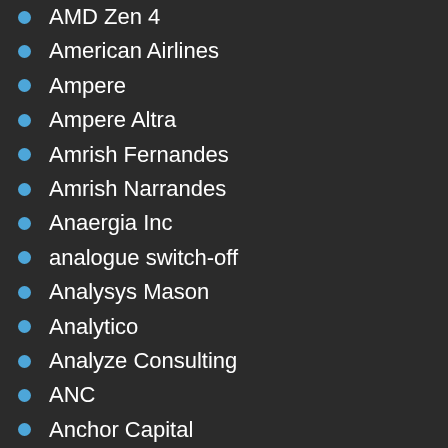AMD Zen 4
American Airlines
Ampere
Ampere Altra
Amrish Fernandes
Amrish Narrandes
Anaergia Inc
analogue switch-off
Analysys Mason
Analytico
Analyze Consulting
ANC
Anchor Capital
Andela
Andre Cilliers